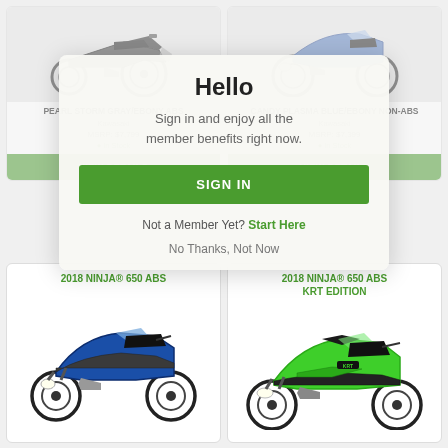[Figure (screenshot): Kawasaki motorcycle product listing page with a sign-in modal overlay. Top row shows two motorcycle cards (Pearl Storm Gray/Ebony ABS and Candy Plasma Blue/Ebony Non-ABS) partially obscured by a modal. Bottom row shows 2018 Ninja 650 ABS and 2018 Ninja 650 ABS KRT Edition cards.]
Hello
Sign in and enjoy all the member benefits right now.
SIGN IN
Not a Member Yet?  Start Here
No Thanks, Not Now
PEARL STORM GRAY/EBONY ABS
Kawasaki
MSRP: $7,799
In Stock
VIEW DETAILS
CANDY PLASMA BLUE/EBONY NON-ABS
Kawasaki
MSRP: $7,399
In Stock
VIEW DETAILS
2018 NINJA® 650 ABS
2018 NINJA® 650 ABS KRT EDITION